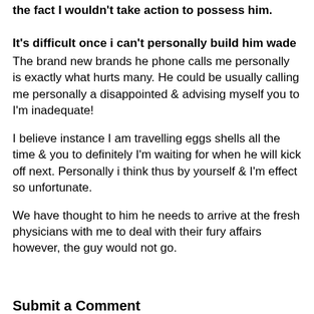the fact I wouldn't take action to possess him.
It's difficult once i can't personally build him wade
The brand new brands he phone calls me personally is exactly what hurts many. He could be usually calling me personally a disappointed & advising myself you to I'm inadequate!
I believe instance I am travelling eggs shells all the time & you to definitely I'm waiting for when he will kick off next. Personally i think thus by yourself & I'm effect so unfortunate.
We have thought to him he needs to arrive at the fresh physicians with me to deal with their fury affairs however, the guy would not go.
Submit a Comment